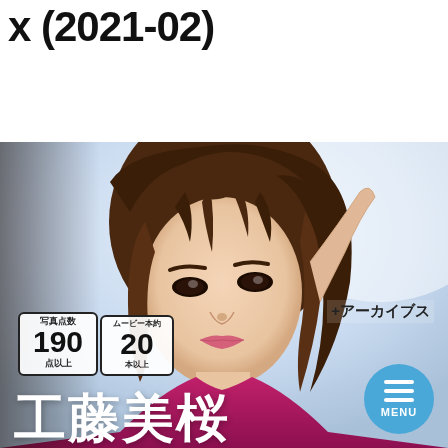x (2021-02)
08/27/2022  07310  No Comments
[Figure (photo): Portrait photo of a young Japanese woman with brown hair, looking directly at camera with hand raised, wearing a pink/magenta outfit. Text overlays include '+アーカイブス' in top right, count boxes showing '写真点数 190 点以上' and 'ムービー本約 20 本以上', large kanji '工藤美桜' at bottom, and a blue circular MENU button in bottom right corner.]